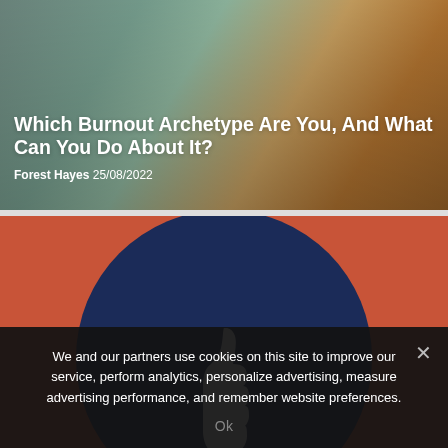[Figure (photo): Top portion of article card showing rumpled cushions/pillows in teal, orange and grey tones with overlaid article title and byline text.]
Which Burnout Archetype Are You, And What Can You Do About It?
Forest Hayes 25/08/2022
[Figure (illustration): Illustration on coral/salmon-red background showing a large dark navy circle with a white thumbs-up hand emerging from its center.]
We and our partners use cookies on this site to improve our service, perform analytics, personalize advertising, measure advertising performance, and remember website preferences.
Ok